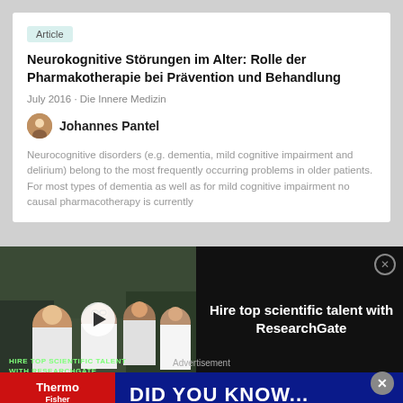Article
Neurokognitive Störungen im Alter: Rolle der Pharmakotherapie bei Prävention und Behandlung
July 2016 · Die Innere Medizin
Johannes Pantel
Neurocognitive disorders (e.g. dementia, mild cognitive impairment and delirium) belong to the most frequently occurring problems in older patients. For most types of dementia as well as for mild cognitive impairment no causal pharmacotherapy is currently
[Figure (photo): Video thumbnail showing group of scientists in lab coats with overlay text 'HIRE TOP SCIENTIFIC TALENT WITH RESEARCHGATE' and a play button]
Hire top scientific talent with ResearchGate
Article
Advertisement
[Figure (photo): ThermoFisher Scientific advertisement banner with text 'DID YOU KNOW...' on dark blue background]